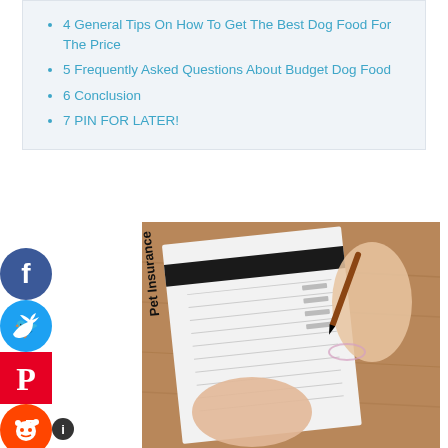4 General Tips On How To Get The Best Dog Food For The Price
5 Frequently Asked Questions About Budget Dog Food
6 Conclusion
7 PIN FOR LATER!
[Figure (photo): Person filling out a Pet Insurance form on a wooden desk, holding a pen, wearing a ring and bracelet.]